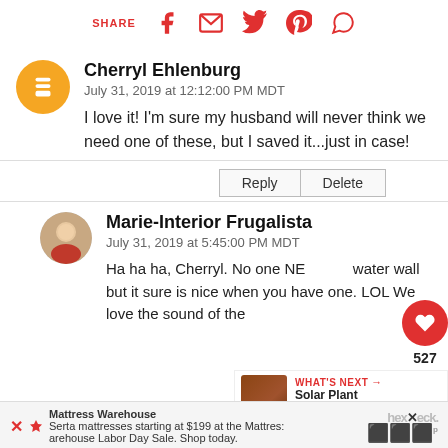SHARE [social icons: Facebook, Email, Twitter, Pinterest, WhatsApp]
Cherryl Ehlenburg
July 31, 2019 at 12:12:00 PM MDT
I love it! I'm sure my husband will never think we need one of these, but I saved it...just in case!
Reply | Delete
Marie-Interior Frugalista
July 31, 2019 at 5:45:00 PM MDT
Ha ha ha, Cherryl. No one NEEDS a water wall but it sure is nice when you have one. LOL We love the sound of the
[Figure (infographic): What's Next panel showing Solar Plant Pot Water... with a thumbnail image]
Mattress Warehouse
Serta mattresses starting at $199 at the Mattress Warehouse Labor Day Sale. Shop today.